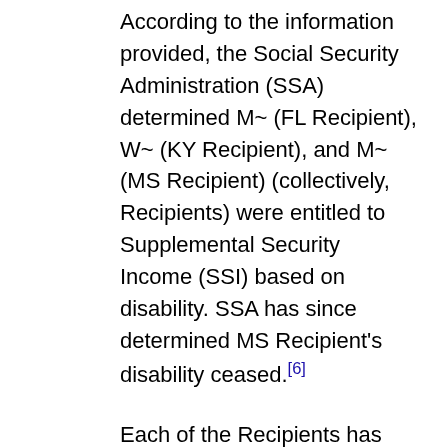According to the information provided, the Social Security Administration (SSA) determined M~ (FL Recipient), W~ (KY Recipient), and M~ (MS Recipient) (collectively, Recipients) were entitled to Supplemental Security Income (SSI) based on disability. SSA has since determined MS Recipient's disability ceased.[6]
Each of the Recipients has established a sub-account in master trusts that NFSNI created. NFSNI provided a July XX, 2007, letter from the Internal Revenue Service (IRS) stating that NFSNI is an exempt organization under section 501(c)(3) of the Internal Revenue Code. NFSNI established a master trust in Florida on May 15, 2008 (Florida Master Trust); in Kentucky on October 17, 2008 (Kentucky Master Trust); and in Mississippi on February 24, 2009 (MS Master